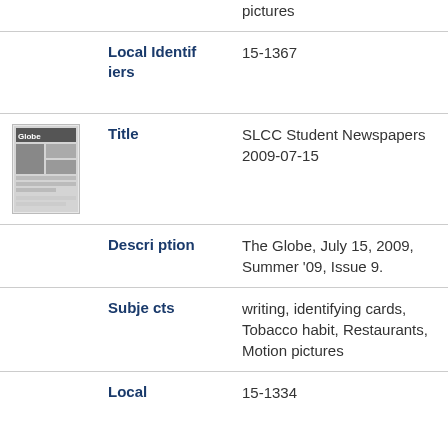pictures
| Local Identifiers | 15-1367 |
| Title | SLCC Student Newspapers 2009-07-15 |
| Description | The Globe, July 15, 2009, Summer '09, Issue 9. |
| Subjects | writing, identifying cards, Tobacco habit, Restaurants, Motion pictures |
| Local | 15-1334 |